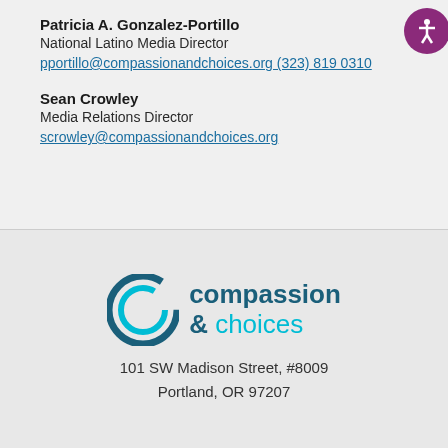Patricia A. Gonzalez-Portillo
National Latino Media Director
pportillo@compassionandchoices.org (323) 819 0310
Sean Crowley
Media Relations Director
scrowley@compassionandchoices.org
[Figure (logo): Compassion & Choices logo with stylized C icon in teal/dark teal]
101 SW Madison Street, #8009
Portland, OR 97207